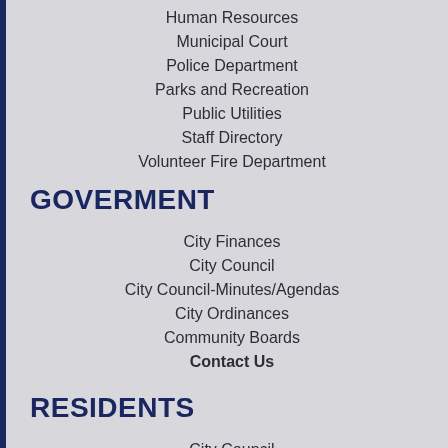Human Resources
Municipal Court
Police Department
Parks and Recreation
Public Utilities
Staff Directory
Volunteer Fire Department
GOVERMENT
City Finances
City Council
City Council-Minutes/Agendas
City Ordinances
Community Boards
Contact Us
RESIDENTS
City Council
Emergency Services
Facility Rentals
Utilities